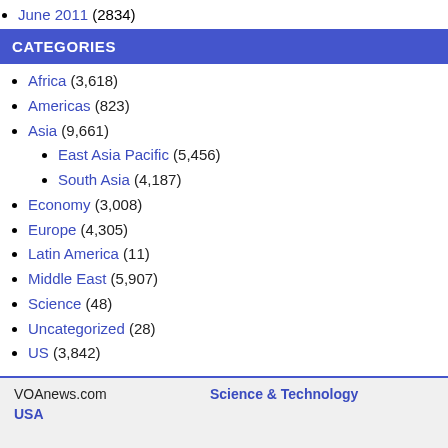June 2011 (2834)
CATEGORIES
Africa (3,618)
Americas (823)
Asia (9,661)
East Asia Pacific (5,456)
South Asia (4,187)
Economy (3,008)
Europe (4,305)
Latin America (11)
Middle East (5,907)
Science (48)
Uncategorized (28)
US (3,842)
VOAnews.com  USA  Science & Technology  Health
VOAnews.com
USA
Science & Technology